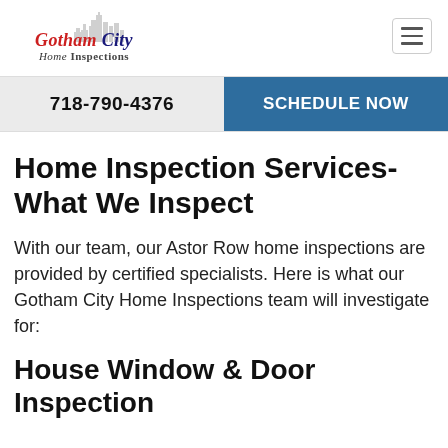[Figure (logo): Gotham City Home Inspections logo with city skyline silhouette, red and blue italic text]
718-790-4376
SCHEDULE NOW
Home Inspection Services- What We Inspect
With our team, our Astor Row home inspections are provided by certified specialists. Here is what our Gotham City Home Inspections team will investigate for:
House Window & Door Inspection